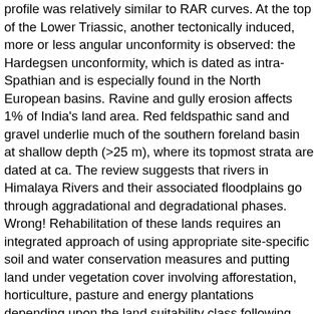profile was relatively similar to RAR curves. At the top of the Lower Triassic, another tectonically induced, more or less angular unconformity is observed: the Hardegsen unconformity, which is dated as intra-Spathian and is especially found in the North European basins. Ravine and gully erosion affects 1% of India's land area. Red feldspathic sand and gravel underlie much of the southern foreland basin at shallow depth (>25 m), where its topmost strata are dated at ca. The review suggests that rivers in Himalaya Rivers and their associated floodplains go through aggradational and degradational phases. Wrong! Rehabilitation of these lands requires an integrated approach of using appropriate site-specific soil and water conservation measures and putting land under vegetation cover involving afforestation, horticulture, pasture and energy plantations depending upon the land suitability class following watershed approach. Secondly, areas of Middle–Late Permian sedimentation, the Permian–Triassic Boundary (PTB) and the onset of Triassic sedimentation at the scale of the westernmost peri-Tethyan domain are defined in